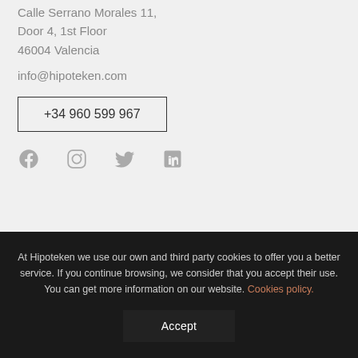Calle Serrano Morales 11, Door 4, 1st Floor
46004 Valencia
info@hipoteken.com
+34 960 599 967
[Figure (infographic): Social media icons: Facebook, Instagram, Twitter, LinkedIn]
At Hipoteken we use our own and third party cookies to offer you a better service. If you continue browsing, we consider that you accept their use. You can get more information on our website. Cookies policy.
Accept